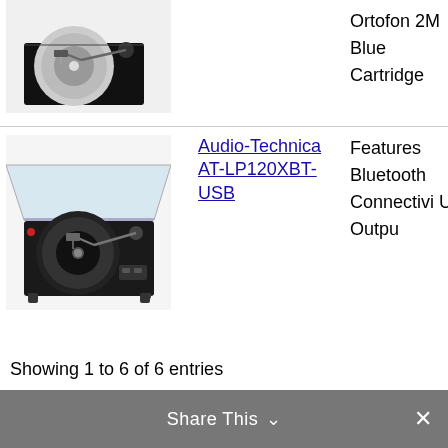[Figure (photo): Turntable product image row 1 (partial, top of page)]
Ortofon 2M Blue Cartridge
[Figure (photo): Audio-Technica AT-LP120XBT-USB turntable product image]
Audio-Technica AT-LP120XBT-USB
Features Bluetooth Connectivity USB Output
Showing 1 to 6 of 6 entries
Share This ∨  ✕